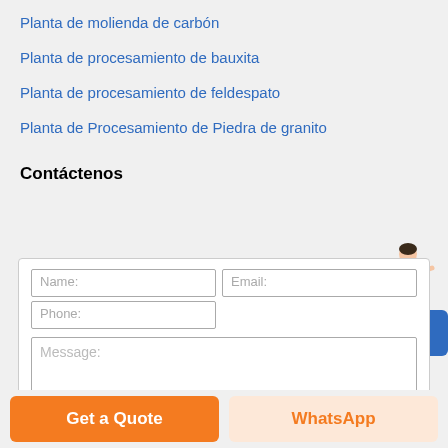Planta de molienda de carbón
Planta de procesamiento de bauxita
Planta de procesamiento de feldespato
Planta de Procesamiento de Piedra de granito
[Figure (illustration): Chat widget with a woman figure and a blue Free chat button]
Contáctenos
[Figure (other): Contact form with Name, Email, Phone fields and a Message textarea]
Get a Quote
WhatsApp